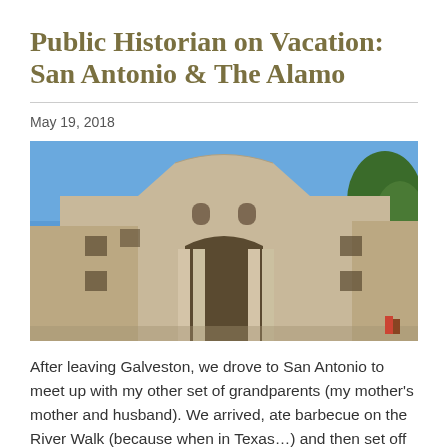Public Historian on Vacation: San Antonio & The Alamo
May 19, 2018
[Figure (photo): Photograph of the Alamo facade in San Antonio, Texas. The historic limestone building is shown from the front with a blue sky background and trees visible on the right side. The distinctive arched entrance and ornate facade are clearly visible.]
After leaving Galveston, we drove to San Antonio to meet up with my other set of grandparents (my mother's mother and husband). We arrived, ate barbecue on the River Walk (because when in Texas…) and then set off to see the